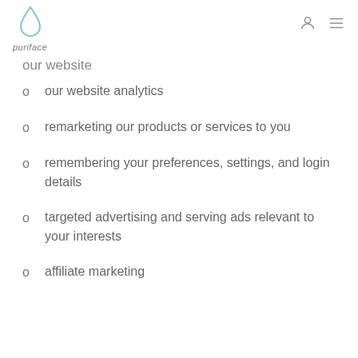puriface
our website
our website analytics
remarketing our products or services to you
remembering your preferences, settings, and login details
targeted advertising and serving ads relevant to your interests
affiliate marketing